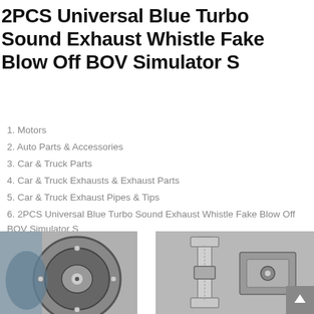2PCS Universal Blue Turbo Sound Exhaust Whistle Fake Blow Off BOV Simulator S
1. Motors
2. Auto Parts & Accessories
3. Car & Truck Parts
4. Car & Truck Exhausts & Exhaust Parts
5. Car & Truck Exhaust Pipes & Tips
6. 2PCS Universal Blue Turbo Sound Exhaust Whistle Fake Blow Off BOV Simulator S
[Figure (photo): Black and white close-up photo of an exhaust whistle BOV simulator part, showing circular opening and internal components]
[Figure (photo): Black and white close-up photo of an exhaust whistle BOV simulator part, showing clamp/bracket hardware components]